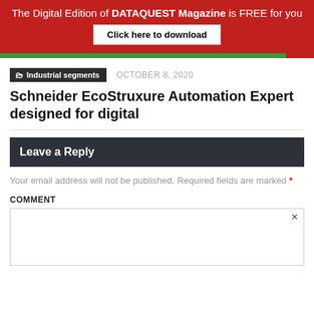The Digital Edition of DATAQUEST Magazine is FREE for you
Click here to download
Industrial segments   OCTOBER 8, 2020
Schneider EcoStruxure Automation Expert designed for digital
Leave a Reply
Your email address will not be published. Required fields are marked *
COMMENT